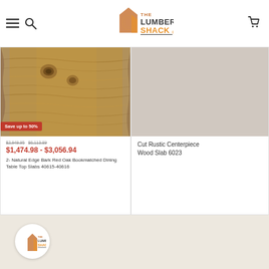[Figure (logo): The Lumber Shack logo - house shape with wood grain texture and orange/brown text]
[Figure (photo): Natural edge bark red oak wood slab with live edge, reddish-brown color with knots visible]
Save up to 50%
$2,949.95 – $6,113.89
$1,474.98 - $3,056.94
2- Natural Edge Bark Red Oak Bookmatched Dining Table Top Slabs 40615-40616
Cut Rustic Centerpiece Wood Slab 6023
[Figure (logo): The Lumber Shack small logo in circle at bottom]